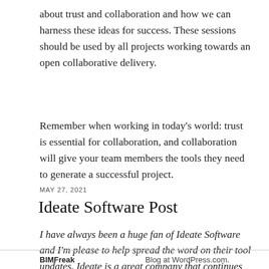about trust and collaboration and how we can harness these ideas for success. These sessions should be used by all projects working towards an open collaborative delivery.
Remember when working in today's world: trust is essential for collaboration, and collaboration will give your team members the tools they need to generate a successful project.
MAY 27, 2021
Ideate Software Post
I have always been a huge fan of Ideate Software and I'm please to help spread the word on their tool updates. Ideate is a great company that continues to push helpful tools in
BIMFreak | Blog at WordPress.com.